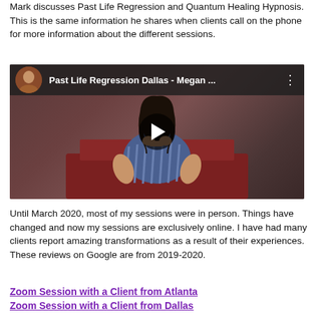Mark discusses Past Life Regression and Quantum Healing Hypnosis. This is the same information he shares when clients call on the phone for more information about the different sessions.
[Figure (screenshot): YouTube video thumbnail showing a woman sitting on a red couch with dark hair, with a play button overlay. The video title bar reads 'Past Life Regression Dallas - Megan ...' with a circular avatar of a man on the left.]
Until March 2020, most of my sessions were in person. Things have changed and now my sessions are exclusively online. I have had many clients report amazing transformations as a result of their experiences. These reviews on Google are from 2019-2020.
Zoom Session with a Client from Atlanta
Zoom Session with a Client from Dallas